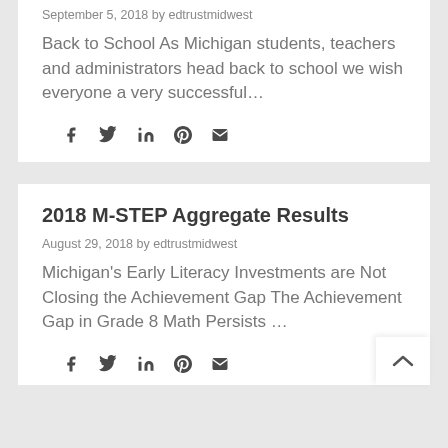September 5, 2018 by edtrustmidwest
Back to School As Michigan students, teachers and administrators head back to school we wish everyone a very successful…
[Figure (other): Social share icons: Facebook, Twitter, LinkedIn, Pinterest, Email]
2018 M-STEP Aggregate Results
August 29, 2018 by edtrustmidwest
Michigan's Early Literacy Investments are Not Closing the Achievement Gap The Achievement Gap in Grade 8 Math Persists …
[Figure (other): Social share icons: Facebook, Twitter, LinkedIn, Pinterest, Email]